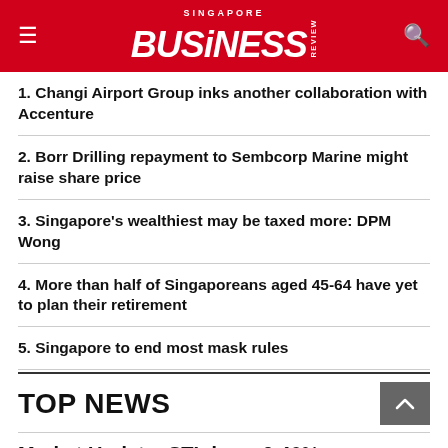SINGAPORE BUSINESS REVIEW
1. Changi Airport Group inks another collaboration with Accenture
2. Borr Drilling repayment to Sembcorp Marine might raise share price
3. Singapore's wealthiest may be taxed more: DPM Wong
4. More than half of Singaporeans aged 45-64 have yet to plan their retirement
5. Singapore to end most mask rules
TOP NEWS
Market Update: STI down 0.46%